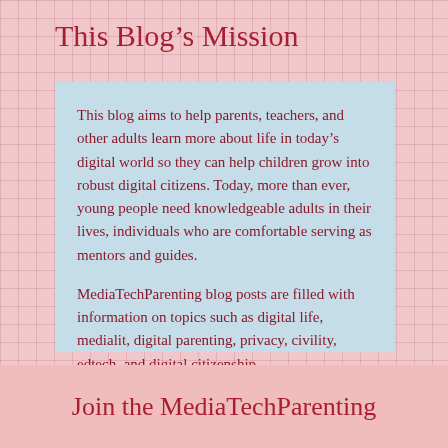This Blog’s Mission
This blog aims to help parents, teachers, and other adults learn more about life in today’s digital world so they can help children grow into robust digital citizens. Today, more than ever, young people need knowledgeable adults in their lives, individuals who are comfortable serving as mentors and guides.
MediaTechParenting blog posts are filled with information on topics such as digital life, medialit, digital parenting, privacy, civility, edtech, and digital citizenship.
Join the MediaTechParenting